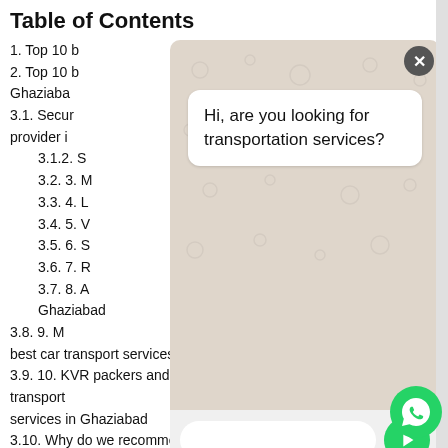Table of Contents
1. Top 10 b…
2. Top 10 b… Ghaziaba…
3.1. Secur… provider i…
3.1.2. S…
3.2. 3. M…
3.3. 4. L…
3.4. 5. V…
3.5. 6. S…
3.6. 7. R…
3.7. 8. A… Ghaziabad
3.8. 9. M… best car transport services in Ghaziabad
3.9. 10. KVR packers and movers Car transport services in Ghaziabad
3.10. Why do we recommend a secure move?
[Figure (screenshot): WhatsApp chat popup overlay with message 'Hi, are you looking for transportation services?' and a text input field with green send button. A green WhatsApp floating button icon is also visible.]